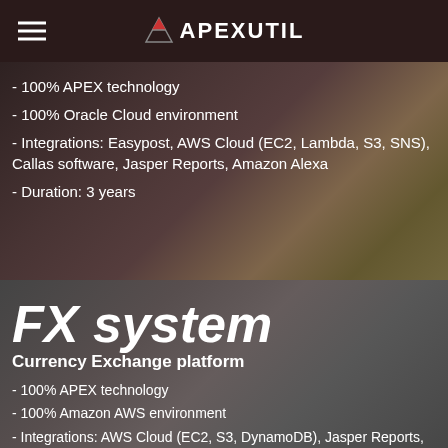APEXUTIL
- 100% APEX technology
- 100% Oracle Cloud environment
- Integrations: Easypost, AWS Cloud (EC2, Lambda, S3, SNS), Callas software, Jasper Reports, Amazon Alexa
- Duration: 3 years
FX system
Currency Exchange platform
- 100% APEX technology
- 100% Amazon AWS environment
- Integrations: AWS Cloud (EC2, S3, DynamoDB), Jasper Reports, 20 Banks
- Duration: 4 1/2 years